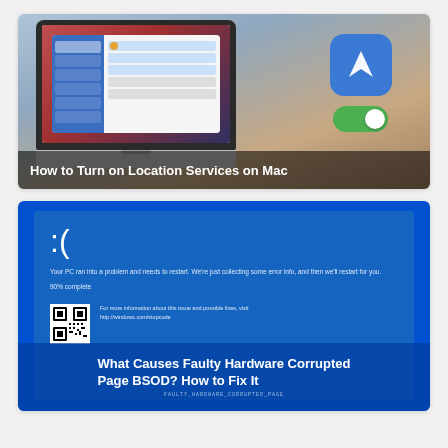[Figure (screenshot): MacBook laptop showing macOS Security & Privacy / Location Services settings panel, with a blue location services icon and a green toggle switch enabled. Background is a blurred macOS desktop.]
How to Turn on Location Services on Mac
[Figure (screenshot): Windows Blue Screen of Death (BSOD) showing sad face emoticon :( with message 'Your PC ran into a problem and needs to restart. We're just collecting some error info, and then we'll restart for you.' and '90% complete', QR code, and URL http://windows.com/stopcode]
What Causes Faulty Hardware Corrupted Page BSOD? How to Fix It